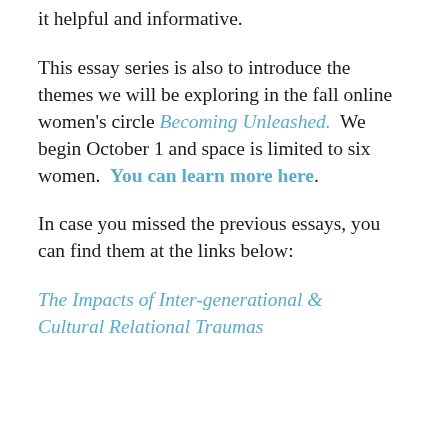it helpful and informative.
This essay series is also to introduce the themes we will be exploring in the fall online women's circle Becoming Unleashed.  We begin October 1 and space is limited to six women.  You can learn more here.
In case you missed the previous essays, you can find them at the links below:
The Impacts of Inter-generational & Cultural Relational Traumas